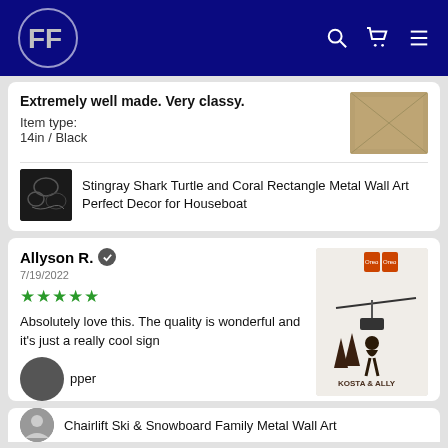FF logo with search, cart, and menu icons
Extremely well made. Very classy.
Item type:
14in / Black
Stingray Shark Turtle and Coral Rectangle Metal Wall Art Perfect Decor for Houseboat
Allyson R. ✓
7/19/2022
★★★★★
Absolutely love this.  The quality is wonderful and it's just a really cool sign
pper
Chairlift Ski & Snowboard Family Metal Wall Art